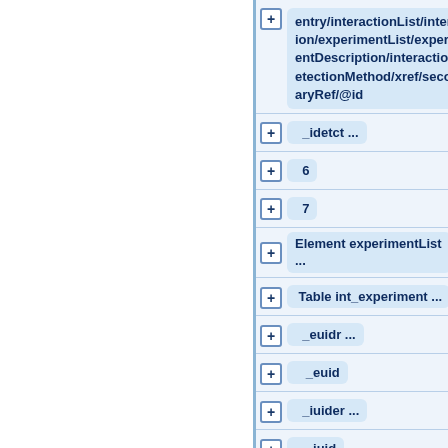[Figure (screenshot): XML/database schema tree view showing expandable nodes for path entry/interactionList/interaction/experimentList/experimentDescription/interactionDetectionMethod/xref/secondaryRef/@id, _idetct ..., 6, 7, Element experimentList ..., Table int_experiment ..., _euidr ..., _euid, _iuider ..., _iuid, Element interaction ..., Table int_name ...]